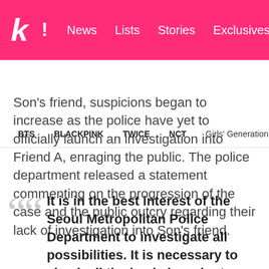K! News  Lists  Stories  Exclusives
BTS  BLACKPINK  TWICE  NCT  Girls' Generation  aespa
Son's friend, suspicions began to increase as the police have yet to officially launch an investigation into Friend A, enraging the public. The police department released a statement commenting on the progression of the case and the public outcry regarding their lack of investigation into Son’s friend.
It is in the best interest of the Seoul Metropolitan Police Department to investigate all possibilities. It is necessary to check all the leads in order to find out the truth.